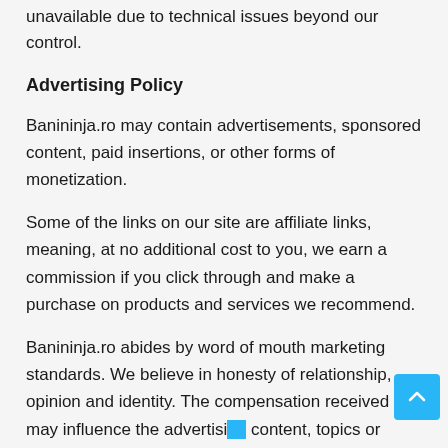unavailable due to technical issues beyond our control.
Advertising Policy
Banininja.ro may contain advertisements, sponsored content, paid insertions, or other forms of monetization.
Some of the links on our site are affiliate links, meaning, at no additional cost to you, we earn a commission if you click through and make a purchase on products and services we recommend.
Banininja.ro abides by word of mouth marketing standards. We believe in honesty of relationship, opinion and identity. The compensation received may influence the advertising content, topics or posts made in this blog. That content,